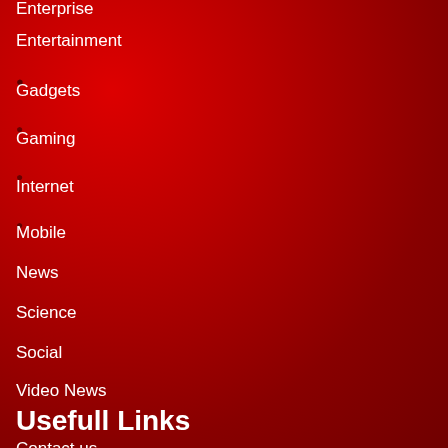Enterprise
Entertainment
Gadgets
Gaming
Internet
Mobile
News
Science
Social
Video News
Usefull Links
Contact us